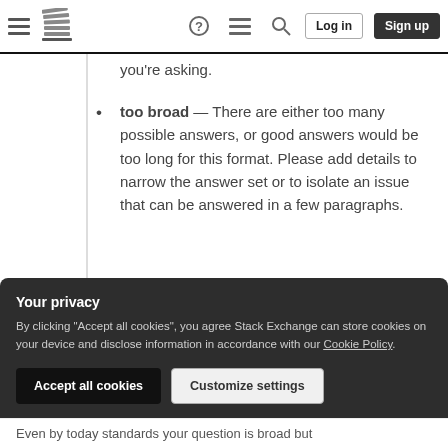Stack Exchange navigation bar with Log in and Sign up buttons
you're asking.
too broad — There are either too many possible answers, or good answers would be too long for this format. Please add details to narrow the answer set or to isolate an issue that can be answered in a few paragraphs.
primarily opinion-based — Many good questions generate some degree
Your privacy
By clicking "Accept all cookies", you agree Stack Exchange can store cookies on your device and disclose information in accordance with our Cookie Policy.
Even by today standards your question is broad but